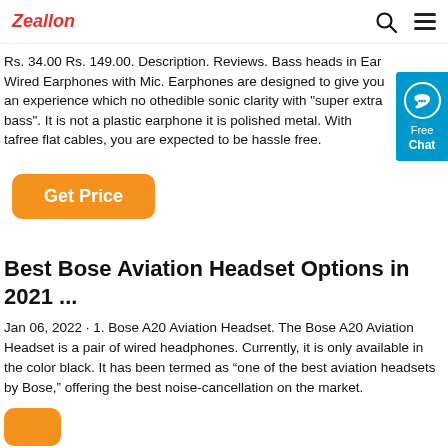Zeallon
Rs. 34.00 Rs. 149.00. Description. Reviews. Bass heads in Ear Wired Earphones with Mic. Earphones are designed to give you an experience which no othedible sonic clarity with "super extra bass". It is not a plastic earphone it is polished metal. With tangle free flat cables, you are expected to be hassle free.
[Figure (other): Free Chat widget button in blue]
Get Price
Best Bose Aviation Headset Options in 2021 ...
Jan 06, 2022 · 1. Bose A20 Aviation Headset. The Bose A20 Aviation Headset is a pair of wired headphones. Currently, it is only available in the color black. It has been termed as “one of the best aviation headsets by Bose,” offering the best noise-cancellation on the market.